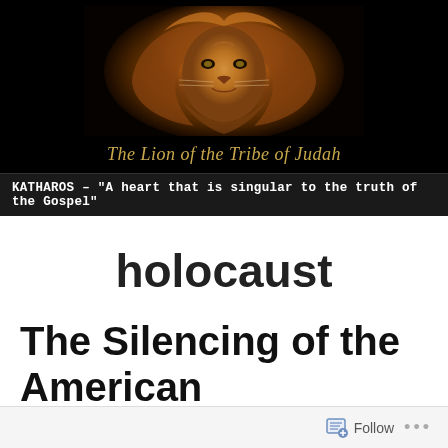[Figure (illustration): Lion face emerging from fiery clouds, dramatic orange and gold tones against black background, used as blog header image]
The Lion of the Tribe of Judah
KATHAROS – "A heart that is singular to the truth of the Gospel"
holocaust
The Silencing of the American Conscience
Follow